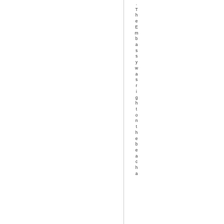.TheEmbassy was right on the beach a